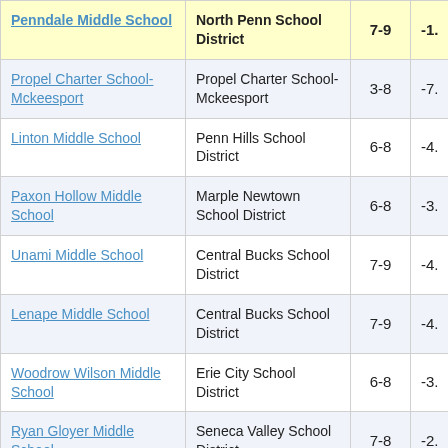| School | District | Grades | Score |
| --- | --- | --- | --- |
| Penndale Middle School | North Penn School District | 7-9 | -1. |
| Propel Charter School-Mckeesport | Propel Charter School-Mckeesport | 3-8 | -7. |
| Linton Middle School | Penn Hills School District | 6-8 | -4. |
| Paxon Hollow Middle School | Marple Newtown School District | 6-8 | -3. |
| Unami Middle School | Central Bucks School District | 7-9 | -4. |
| Lenape Middle School | Central Bucks School District | 7-9 | -4. |
| Woodrow Wilson Middle School | Erie City School District | 6-8 | -3. |
| Ryan Gloyer Middle School | Seneca Valley School District | 7-8 | -2. |